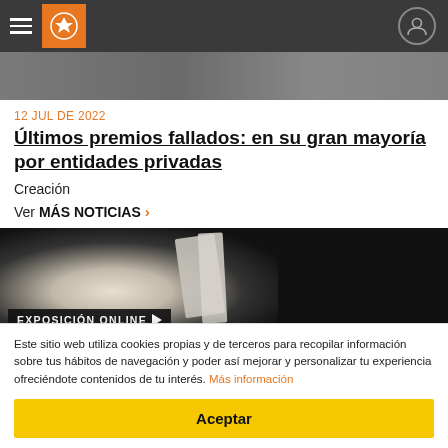Navigation bar with hamburger menu, logo and user icon
[Figure (photo): Partial hero image strip at top of page, grey/dark tones]
12 JUL DE 2022
Últimos premios fallados: en su gran mayoría por entidades privadas
Creación
Ver MÁS NOTICIAS >
[Figure (photo): Exhibition image with dark background and abstract shapes. Badge reads: EXPOSICIÓN ONLINE]
02 OCT DE 2020 - 02 OCT DE 2030
Partial next article title (cut off at bottom)
Este sitio web utiliza cookies propias y de terceros para recopilar información sobre tus hábitos de navegación y poder así mejorar y personalizar tu experiencia ofreciéndote contenidos de tu interés. Más información
Aceptar